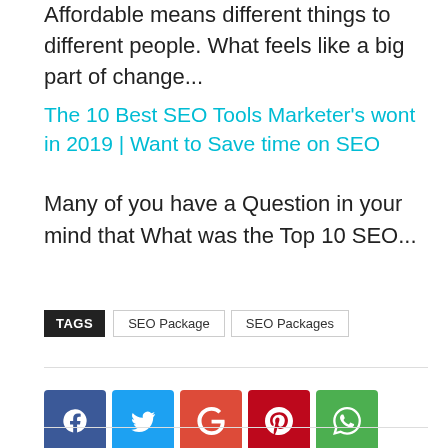Affordable means different things to different people. What feels like a big part of change...
The 10 Best SEO Tools Marketer's wont in 2019 | Want to Save time on SEO
Many of you have a Question in your mind that What was the Top 10 SEO...
TAGS  SEO Package  SEO Packages
[Figure (infographic): Social share buttons: Facebook (blue), Twitter (light blue), Google+ (red-orange), Pinterest (dark red), WhatsApp (green)]